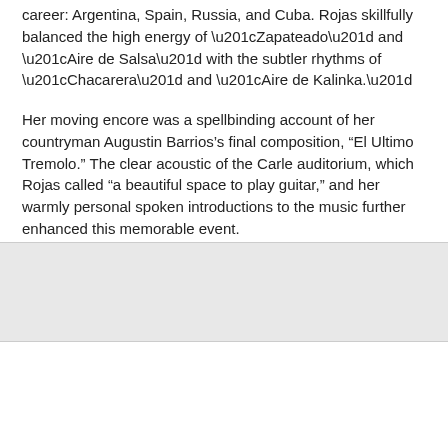career: Argentina, Spain, Russia, and Cuba. Rojas skillfully balanced the high energy of “Zapateado” and “Aire de Salsa” with the subtler rhythms of “Chacarera” and “Aire de Kalinka.”
Her moving encore was a spellbinding account of her countryman Augustin Barrios’s final composition, “El Ultimo Tremolo.” The clear acoustic of the Carle auditorium, which Rojas called “a beautiful space to play guitar,” and her warmly personal spoken introductions to the music further enhanced this memorable event.
[Figure (other): Gray placeholder image box]
Home | View web version | Powered by Blogger.